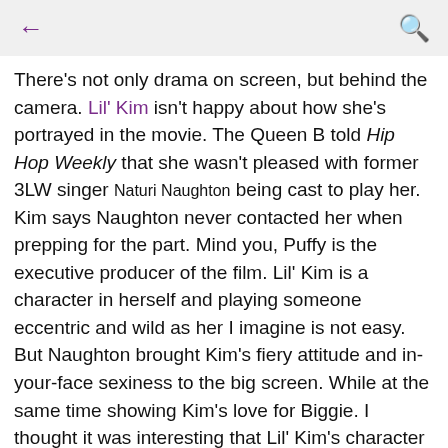← (back)  🔍 (search)
There's not only drama on screen, but behind the camera. Lil' Kim isn't happy about how she's portrayed in the movie. The Queen B told Hip Hop Weekly that she wasn't pleased with former 3LW singer Naturi Naughton being cast to play her. Kim says Naughton never contacted her when prepping for the part. Mind you, Puffy is the executive producer of the film. Lil' Kim is a character in herself and playing someone eccentric and wild as her I imagine is not easy. But Naughton brought Kim's fiery attitude and in-your-face sexiness to the big screen. While at the same time showing Kim's love for Biggie. I thought it was interesting that Lil' Kim's character was the only one nude in the movie. Could Lil' Kim be unhappy about the story because she's portrayed as B.I.G's side dish? While his wife Faith, played by Antonique Smith, is his main love. I would've liked to see some input from Lil' Kim. I wonder if the film would've been different if she had some say. Maybe